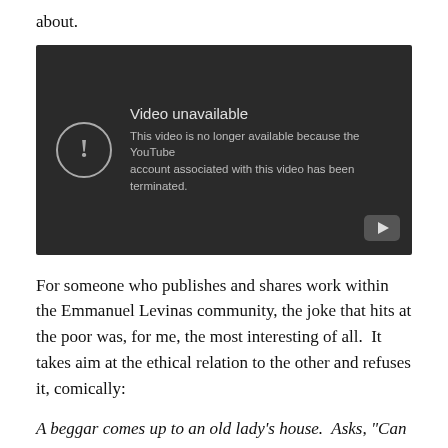about.
[Figure (screenshot): A YouTube video player showing an error message: 'Video unavailable. This video is no longer available because the YouTube account associated with this video has been terminated.']
For someone who publishes and shares work within the Emmanuel Levinas community, the joke that hits at the poor was, for me, the most interesting of all.  It takes aim at the ethical relation to the other and refuses it, comically:
A beggar comes up to an old lady's house.  Asks, "Can I